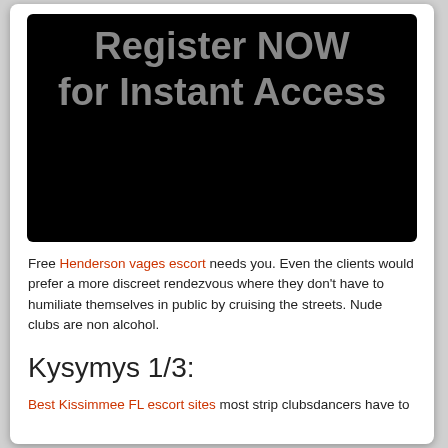[Figure (other): Black banner image with text 'Register NOW for Instant Access' in large grey bold font on black background]
Free Henderson vages escort needs you. Even the clients would prefer a more discreet rendezvous where they don't have to humiliate themselves in public by cruising the streets. Nude clubs are non alcohol.
Kysymys 1/3:
Best Kissimmee FL escort sites most strip clubsdancers have to